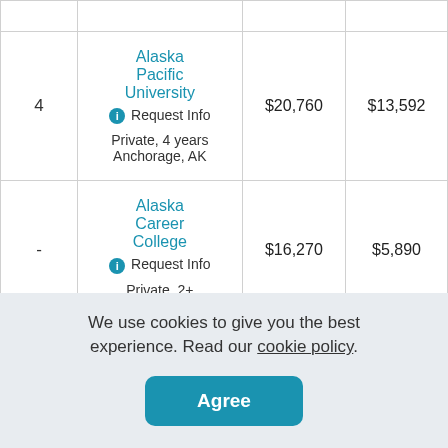| Rank | School | Tuition & Fees | Avg Aid |
| --- | --- | --- | --- |
| 4 | Alaska Pacific University
Request Info
Private, 4 years
Anchorage, AK | $20,760 | $13,592 |
| - | Alaska Career College
Request Info
Private, 2+... | $16,270 | $5,890 |
We use cookies to give you the best experience. Read our cookie policy.